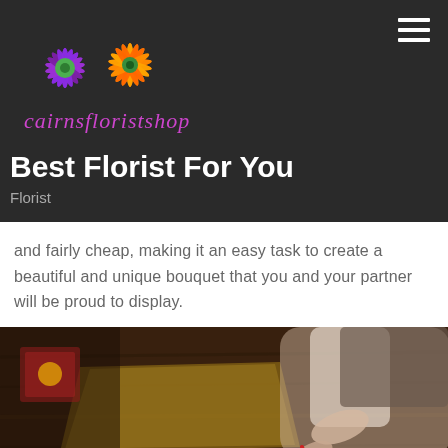[Figure (logo): Cairns Florist Shop logo with colorful flower/pinwheel design in purple, orange, and green, with italic cursive text 'cairnsfloristshop' below]
Best Florist For You
Florist
and fairly cheap, making it an easy task to create a beautiful and unique bouquet that you and your partner will be proud to display.
[Figure (photo): A florist working at a wooden table, cutting flower stems with red scissors, with pink flowers and green ferns visible in the foreground]